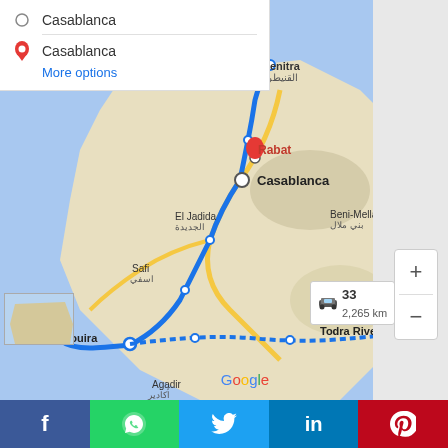[Figure (map): Google Maps screenshot showing a driving route in Morocco from Casablanca through Rabat, Kenitra, El Jadida, Safi, Essaouira, Todra River, and Agadir area. The route is shown as a blue line. Distance info box shows car icon, '33', and '2,265 km'. Cities labeled: Kenitra/القنيطرة, Rabat, Casablanca, El Jadida/الجديدة, Safi/اسفي, Beni-Mellal/بني ملال, Essaouira, Todra River, Agadir/أكادير, Tiznit/تزنيت. Google logo at bottom. Zoom plus and minus controls at right.]
Casablanca
Casablanca
More options
[Figure (screenshot): Social sharing bar with Facebook (blue), WhatsApp (green), Twitter (light blue), LinkedIn (dark blue), Pinterest (red) icons]
f  [WhatsApp]  in  P